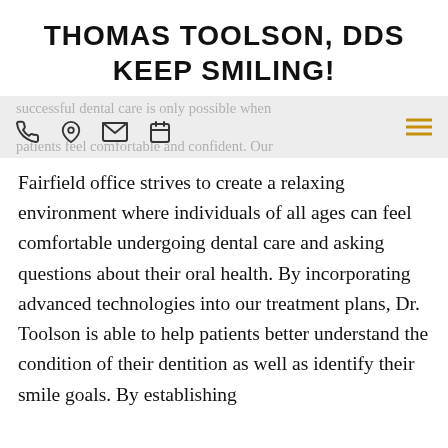THOMAS TOOLSON, DDS KEEP SMILING!
[Figure (screenshot): Navigation bar with phone, location, email, and calendar icons, and a hamburger menu icon in gold. Overlaid with faded text reading 'successful dental care is only possible when patients feel comfortable and confident. Our']
Fairfield office strives to create a relaxing environment where individuals of all ages can feel comfortable undergoing dental care and asking questions about their oral health. By incorporating advanced technologies into our treatment plans, Dr. Toolson is able to help patients better understand the condition of their dentition as well as identify their smile goals. By establishing